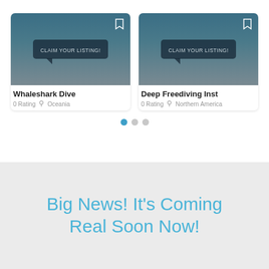[Figure (screenshot): Card image for Whaleshark Dive listing with gradient background and CLAIM YOUR LISTING! speech bubble, bookmark icon top right]
Whaleshark Dive
0 Rating   Oceania
[Figure (screenshot): Card image for Deep Freediving Inst listing with gradient background and CLAIM YOUR LISTING! speech bubble, bookmark icon top right]
Deep Freediving Inst
0 Rating   Northern America
Big News! It's Coming Real Soon Now!